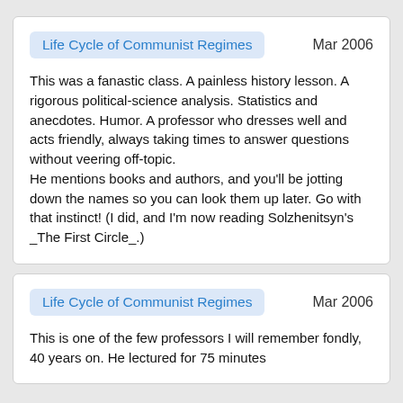Life Cycle of Communist Regimes
Mar 2006
This was a fanastic class.  A painless history lesson.  A rigorous political-science analysis.  Statistics and anecdotes.  Humor.  A professor who dresses well and acts friendly, always taking times to answer questions without veering off-topic.
He mentions books and authors, and you'll be jotting down the names so you can look them up later.   Go with that instinct!  (I did, and I'm now reading Solzhenitsyn's _The First Circle_.)
Life Cycle of Communist Regimes
Mar 2006
This is one of the few professors I will remember fondly, 40 years on.  He lectured for 75 minutes